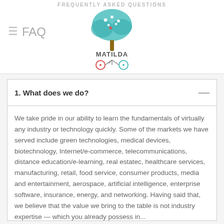FREQUENTLY ASKED QUESTIONS
[Figure (logo): MATILDA logo with colorful tree and bicycle imagery]
1. What does we do?
We take pride in our ability to learn the fundamentals of virtually any industry or technology quickly. Some of the markets we have served include green technologies, medical devices, biotechnology, Internet/e-commerce, telecommunications, distance education/e-learning, real estatec, healthcare services, manufacturing, retail, food service, consumer products, media and entertainment, aerospace, artificial intelligence, enterprise software, insurance, energy, and networking. Having said that, we believe that the value we bring to the table is not industry expertise — which you already possess in... view all